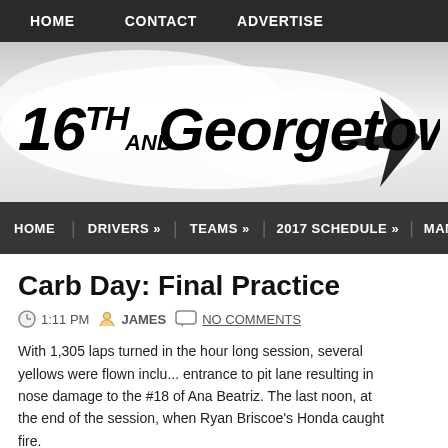HOME   CONTACT   ADVERTISE
[Figure (logo): 16th and Georgetown website logo with stylized text and arrow graphic on a grey burst background]
HOME   DRIVERS »   TEAMS »   2017 SCHEDULE »   MANUFA...
Carb Day: Final Practice
1:11 PM  JAMES  NO COMMENTS
With 1,305 laps turned in the hour long session, several yellows were flown includ... entrance to pit lane resulting in nose damage to the #18 of Ana Beatriz. The last noon, at the end of the session, when Ryan Briscoe's Honda caught fire.